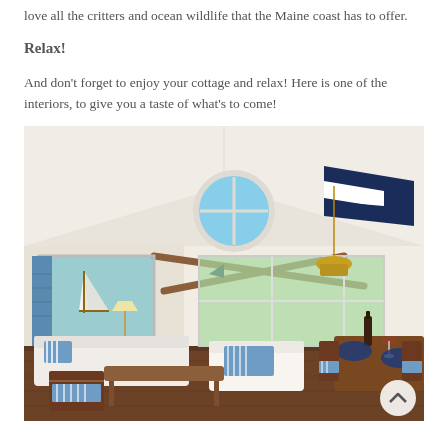love all the critters and ocean wildlife that the Maine coast has to offer.
Relax!
And don't forget to enjoy your cottage and relax! Here is one of the interiors, to give you a taste of what's to come!
[Figure (photo): Interior of a nautical-themed cottage with white vaulted ceiling, round porthole window, crossed oars, sailboat model, white sofas and chairs with blue striped cushions, wood dining table with blue placemats, and large windows overlooking greenery.]